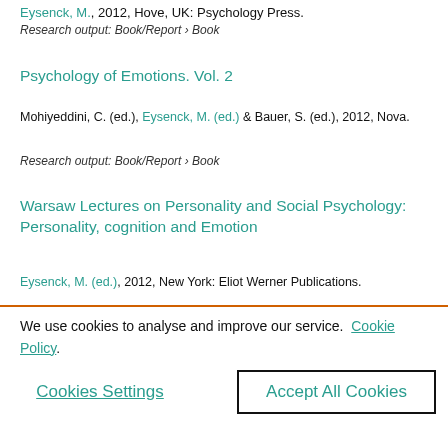Eysenck, M., 2012, Hove, UK: Psychology Press.
Research output: Book/Report › Book
Psychology of Emotions. Vol. 2
Mohiyeddini, C. (ed.), Eysenck, M. (ed.) & Bauer, S. (ed.), 2012, Nova.
Research output: Book/Report › Book
Warsaw Lectures on Personality and Social Psychology: Personality, cognition and Emotion
Eysenck, M. (ed.), 2012, New York: Eliot Werner Publications.
We use cookies to analyse and improve our service. Cookie Policy
Cookies Settings
Accept All Cookies